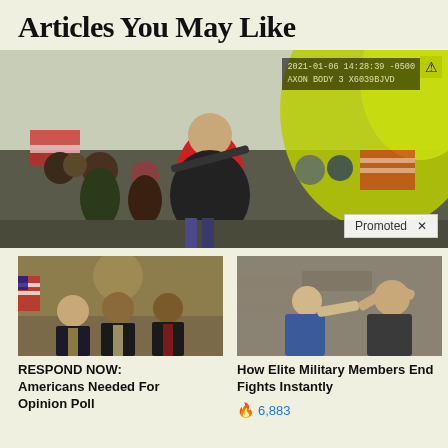Articles You May Like
[Figure (photo): Body camera footage from 2021-01-06 showing a crowd/protest scene with people in winter clothing, flags including American flags, and a timestamp overlay reading '2021-01-06 14:28:39 -0500 AXON BODY 3 X6039BJVD'. A 'Promoted X' badge appears in the bottom right.]
[Figure (photo): Three men in business suits posing together in a formal interior setting with ornate woodwork visible.]
RESPOND NOW: Americans Needed For Opinion Poll
[Figure (photo): Two men in a physical altercation, one in a blue shirt appearing to strike the other.]
How Elite Military Members End Fights Instantly
🔥 6,883